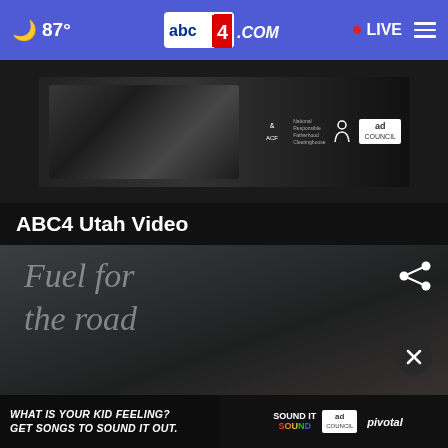☁ 87° | abc4.com | • LIVE | ≡
[Figure (photo): Advertisement banner showing a person's hand with a watch near a turntable, with ACF National Responsible Fatherhood Clearinghouse and Ad Council logos]
ABC4 Utah Video
[Figure (screenshot): Video player thumbnail showing text 'Fuel for the road' over a dark background with a share icon and close button]
[Figure (photo): Bottom advertisement banner: 'WHAT IS YOUR KID FEELING? GET SONGS TO SOUND IT OUT.' with Sound It Out, Ad Council, and Pivotal logos]